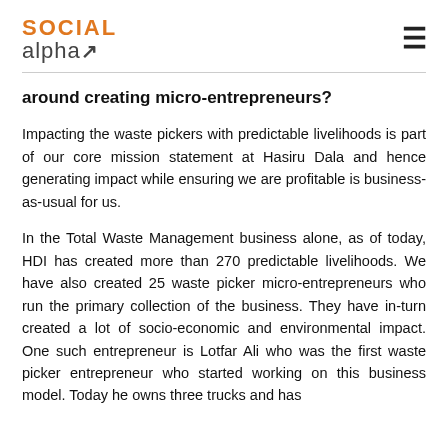SOCIAL alpha↗
around creating micro-entrepreneurs?
Impacting the waste pickers with predictable livelihoods is part of our core mission statement at Hasiru Dala and hence generating impact while ensuring we are profitable is business-as-usual for us.
In the Total Waste Management business alone, as of today, HDI has created more than 270 predictable livelihoods. We have also created 25 waste picker micro-entrepreneurs who run the primary collection of the business. They have in-turn created a lot of socio-economic and environmental impact. One such entrepreneur is Lotfar Ali who was the first waste picker entrepreneur who started working on this business model. Today he owns three trucks and has